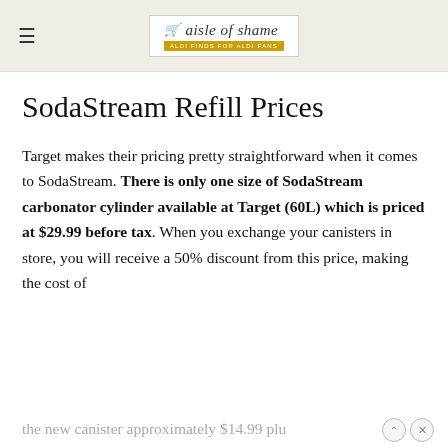≡  aisle of shame  ALDI FINDS FOR ALDI FANS
SodaStream Refill Prices
Target makes their pricing pretty straightforward when it comes to SodaStream. There is only one size of SodaStream carbonator cylinder available at Target (60L) which is priced at $29.99 before tax. When you exchange your canisters in store, you will receive a 50% discount from this price, making the cost of the new canister approximately $14.99 plus